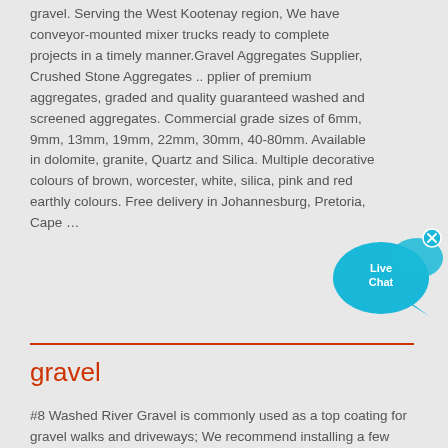gravel. Serving the West Kootenay region, We have conveyor-mounted mixer trucks ready to complete projects in a timely manner.Gravel Aggregates Supplier, Crushed Stone Aggregates .. pplier of premium aggregates, graded and quality guaranteed washed and screened aggregates. Commercial grade sizes of 6mm, 9mm, 13mm, 19mm, 22mm, 30mm, 40-80mm. Available in dolomite, granite, Quartz and Silica. Multiple decorative colours of brown, worcester, white, silica, pink and red earthly colours. Free delivery in Johannesburg, Pretoria, Cape …
[Figure (illustration): Live Chat widget — a cyan speech bubble with 'Live Chat' text in white, and a small 'x' close button in the top right corner]
gravel
#8 Washed River Gravel is commonly used as a top coating for gravel walks and driveways; We recommend installing a few inches of a larger gravel such as #57 Limestone Gravel or #57 Washed River Gravel and then adding a coating of an …Grenada Gravel Concrete & Emulsion Production …2015-9-15 · Sand Concrete Products Ready Mix Concrete Gravel Price List GUIDE FOR SMALL HAND MIXES. Mon Rush Telescope. CORPORATE MISSION